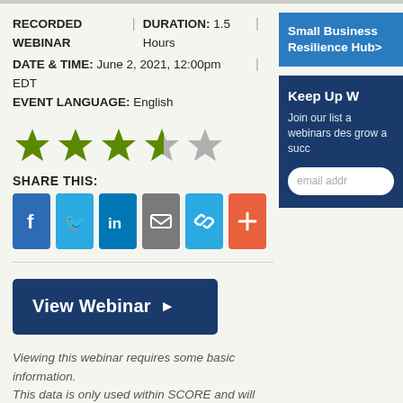RECORDED WEBINAR | DURATION: 1.5 Hours | DATE & TIME: June 2, 2021, 12:00pm EDT | EVENT LANGUAGE: English
[Figure (other): Star rating: 3.5 out of 5 stars (4 filled/half, 1 empty)]
SHARE THIS:
[Figure (other): Social share buttons: Facebook, Twitter, LinkedIn, Email, Link, Plus]
[Figure (other): View Webinar button with right arrow]
Viewing this webinar requires some basic information. This data is only used within SCORE and will not be distributed to any third parties.
[Figure (other): Small Business Resilience Hub> blue button]
Keep Up W
Join our list a webinars des grow a succ
email addr